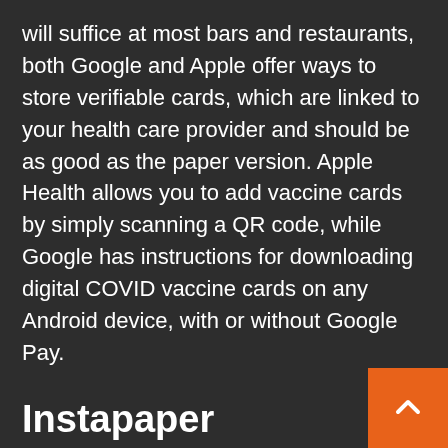will suffice at most bars and restaurants, both Google and Apple offer ways to store verifiable cards, which are linked to your health care provider and should be as good as the paper version. Apple Health allows you to add vaccine cards by simply scanning a QR code, while Google has instructions for downloading digital COVID vaccine cards on any Android device, with or without Google Pay.
Instapaper
Turn boring moments of holiday downtime into an opportunity to read all the engrossing articles you don't have time for during a workweek. Installing the Instapaper extension in Chrome lets you capture the epics from The Atlantic with one click, then revisit later on your phone or e-book reader while you relax